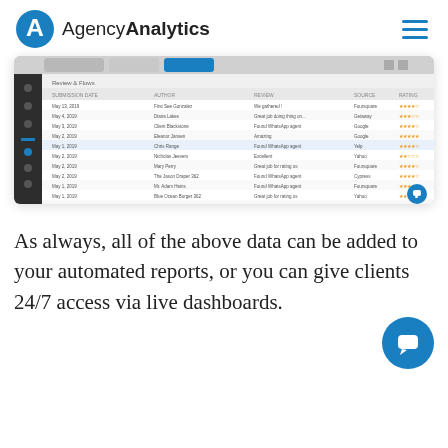AgencyAnalytics
[Figure (screenshot): AgencyAnalytics dashboard screenshot showing a review tracker table with columns for date, reviewer name, review content, source, and star ratings displayed in orange stars. Multiple rows of review data are visible.]
As always, all of the above data can be added to your automated reports, or you can give clients 24/7 access via live dashboards.